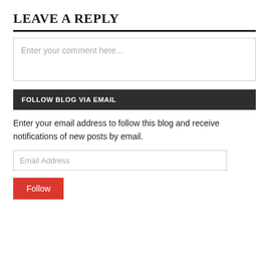LEAVE A REPLY
FOLLOW BLOG VIA EMAIL
Enter your email address to follow this blog and receive notifications of new posts by email.